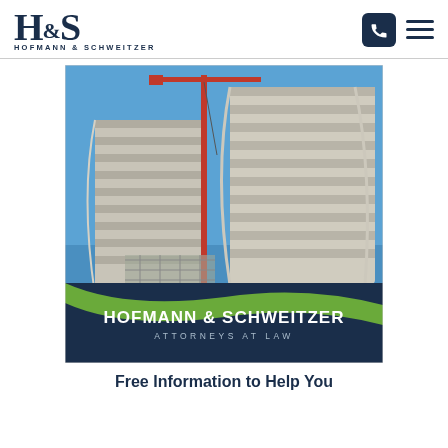[Figure (logo): Hofmann & Schweitzer H&S logo with text HOFMANN & SCHWEITZER below]
[Figure (photo): Construction site photo showing two circular high-rise buildings under construction with a crane. Below the photo is a dark blue banner with HOFMANN & SCHWEITZER ATTORNEYS AT LAW text and a green swoosh design.]
Free Information to Help You